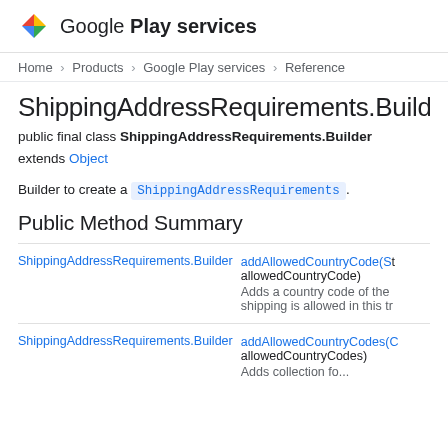Google Play services
Home > Products > Google Play services > Reference
ShippingAddressRequirements.Builder
public final class ShippingAddressRequirements.Builder extends Object
Builder to create a ShippingAddressRequirements.
Public Method Summary
| Return type | Method |
| --- | --- |
| ShippingAddressRequirements.Builder | addAllowedCountryCode(St
allowedCountryCode)
Adds a country code of the
shipping is allowed in this tr |
| ShippingAddressRequirements.Builder | addAllowedCountryCodes(C
allowedCountryCodes)
Adds collection fo... |